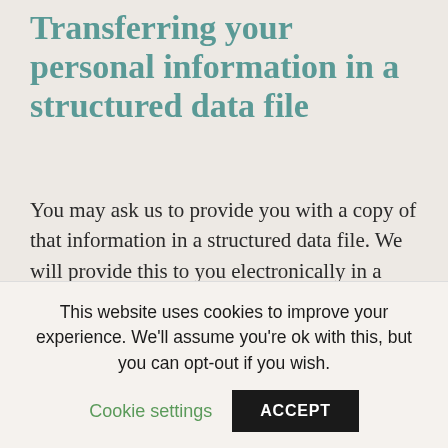Transferring your personal information in a structured data file
You may ask us to provide you with a copy of that information in a structured data file. We will provide this to you electronically in a structured, commonly used and machine readable form, such as a CSV file. We may not provide you with a copy of your personal information if this concerns other
This website uses cookies to improve your experience. We'll assume you're ok with this, but you can opt-out if you wish.
Cookie settings
ACCEPT